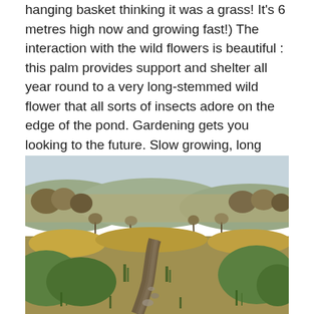hanging basket thinking it was a grass! It's 6 metres high now and growing fast!) The interaction with the wild flowers is beautiful : this palm provides support and shelter all year round to a very long-stemmed wild flower that all sorts of insects adore on the edge of the pond. Gardening gets you looking to the future. Slow growing, long lived plants expect to face challenges and can be extraordinarily adaptable which is very inspiring.
[Figure (photo): Outdoor landscape photograph showing a boggy or wetland area with a small stream or muddy path running through the centre foreground. Green and golden-brown grasses and reeds surround the waterway. In the background are bare deciduous trees with autumn foliage on a hillside, under an overcast grey sky.]